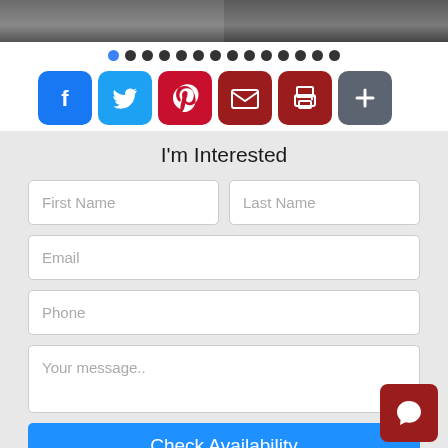[Figure (photo): Two images of a dark object (vehicle/tire) side by side at the top of the page]
[Figure (infographic): Carousel dot indicators — one blue (active) and 13 black dots in a row]
[Figure (infographic): Row of social share buttons: Facebook, Twitter, Pinterest, Email, Print, Plus/More]
I'm Interested
First Name
Last Name
Email
Phone
Your message..
Check Availability